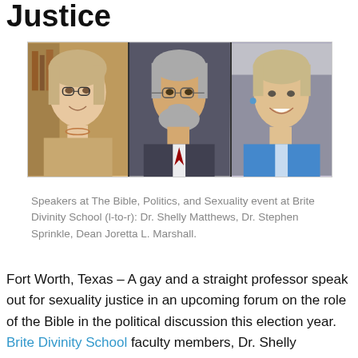Justice
[Figure (photo): Three headshot photos of speakers at The Bible, Politics, and Sexuality event at Brite Divinity School: Dr. Shelly Matthews (woman with glasses and blonde hair), Dr. Stephen Sprinkle (man with glasses and beard), and Dean Joretta L. Marshall (woman with short gray hair smiling in blue jacket).]
Speakers at The Bible, Politics, and Sexuality event at Brite Divinity School (l-to-r): Dr. Shelly Matthews, Dr. Stephen Sprinkle, Dean Joretta L. Marshall.
Fort Worth, Texas – A gay and a straight professor speak out for sexuality justice in an upcoming forum on the role of the Bible in the political discussion this election year. Brite Divinity School faculty members, Dr. Shelly Matthews, Associate Professor of New Testament, a